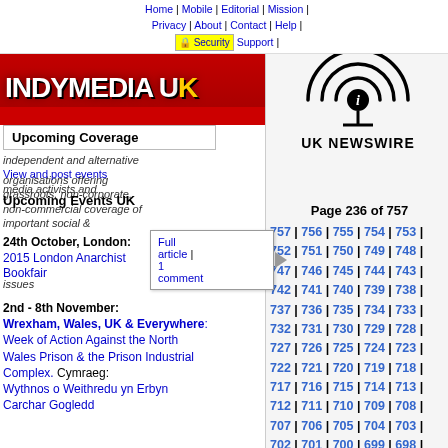Home | Mobile | Editorial | Mission | Privacy | About | Contact | Help | Security | Support
[Figure (logo): IndyMedia UK logo with red background and white text]
[Figure (logo): UK Newswire logo with radio wave 'i' symbol and handwritten text]
Page 236 of 757
757 | 756 | 755 | 754 | 753 | 752 | 751 | 750 | 749 | 748 | 747 | 746 | 745 | 744 | 743 | 742 | 741 | 740 | 739 | 738 | 737 | 736 | 735 | 734 | 733 | 732 | 731 | 730 | 729 | 728 | 727 | 726 | 725 | 724 | 723 | 722 | 721 | 720 | 719 | 718 | 717 | 716 | 715 | 714 | 713 | 712 | 711 | 710 | 709 | 708 | 707 | 706 | 705 | 704 | 703 | 702 | 701 | 700 | 699 | 698 | 697 | 696 | 695 | 694 | 693 | 692 | 691 | 690 | 689 | 688 | 687 | 686 | 685 | 684 | 683
Upcoming Coverage
independent and alternative media activists and organisations offering grassroots, non-corporate, non-commercial coverage of important social & issues
View and post events
Upcoming Events UK
24th October, London: 2015 London Anarchist Bookfair
2nd - 8th November: Wrexham, Wales, UK & Everywhere: Week of Action Against the North Wales Prison & the Prison Industrial Complex. Cymraeg: Wythnos o Weithredu yn Erbyn Carchar Gogledd
Full article | 1 comment
08-05-2006 20:05